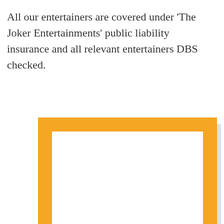All our entertainers are covered under 'The Joker Entertainments' public liability insurance and all relevant entertainers DBS checked.
[Figure (other): A white rectangle with a thick orange border, presented as a placeholder image frame with a light gray shadow behind it.]